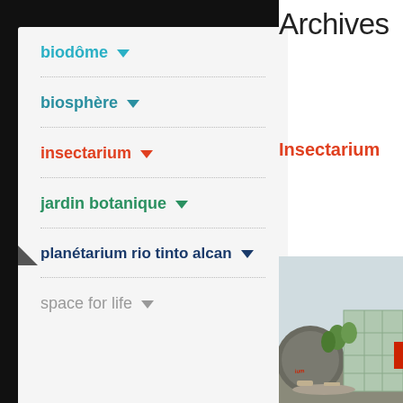biodôme ▾
biosphère ▾
insectarium ▾
jardin botanique ▾
planétarium rio tinto alcan ▾
space for life ▾
Archives
Insectarium
[Figure (photo): Exterior view of the Insectarium building with modern architecture, trees and landscaping]
[Figure (photo): Close-up of a green leaf on bright green background]